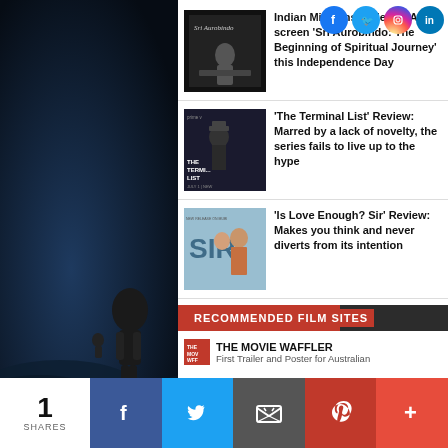[Figure (screenshot): Dark background sci-fi scene on left side]
[Figure (photo): Sri Aurobindo movie thumbnail - black and white spiritual figure]
Indian Missions under MEA to screen 'Sri Aurobindo: The Beginning of Spiritual Journey' this Independence Day
[Figure (photo): The Terminal List - Prime Video show thumbnail with Chris Pratt]
'The Terminal List' Review: Marred by a lack of novelty, the series fails to live up to the hype
[Figure (photo): Is Love Enough Sir - movie thumbnail]
'Is Love Enough? Sir' Review: Makes you think and never diverts from its intention
RECOMMENDED FILM SITES
[Figure (logo): The Movie Waffler logo icon]
THE MOVIE WAFFLER
First Trailer and Poster for Australian
1 SHARES
[Figure (infographic): Bottom share bar with Facebook, Twitter, Email, Pinterest, More buttons]